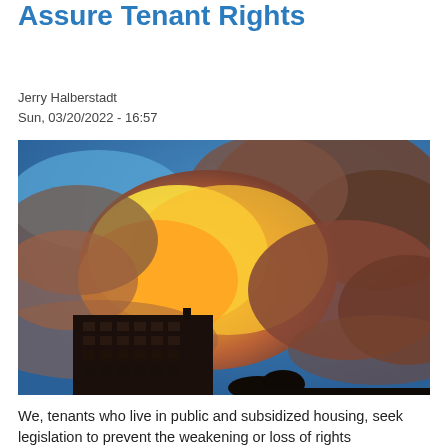Assure Tenant Rights
Jerry Halberstadt
Sun, 03/20/2022 - 16:57
[Figure (photo): Dramatic sunset photo of billowing golden-yellow and orange storm clouds rising above a dark silhouetted apartment building against a blue sky.]
We, tenants who live in public and subsidized housing, seek legislation to prevent the weakening or loss of rights